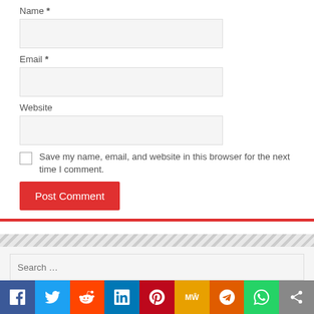Name *
Email *
Website
Save my name, email, and website in this browser for the next time I comment.
Post Comment
Search …
Search